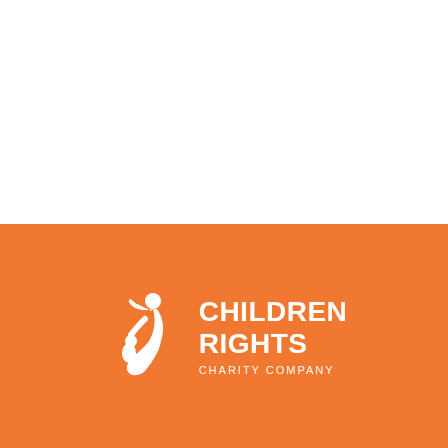[Figure (logo): Children Rights Charity Company logo on an orange background. White icon of an adult figure lifting/embracing a child, with text 'CHILDREN RIGHTS' in bold white caps and 'CHARITY COMPANY' in smaller white caps below.]